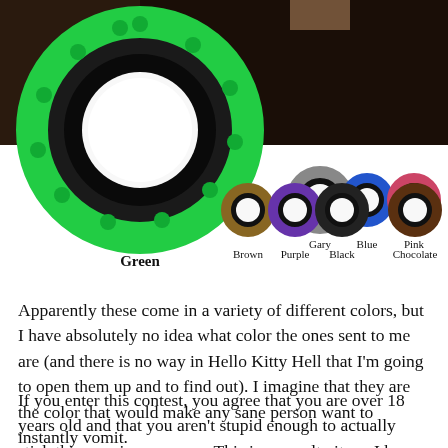[Figure (photo): Product image showing Hello Kitty themed contact lenses. Large green contact lens with Hello Kitty pattern on the left, with a model's dark hair behind. Below and to the right are 7 smaller contact lens color options labeled: Green, Gary, Blue, Pink, Brown, Purple, Black, Chocolate.]
Apparently these come in a variety of different colors, but I have absolutely no idea what color the ones sent to me are (and there is no way in Hello Kitty Hell that I'm going to open them up and to find out). I imagine that they are the color that would make any sane person want to instantly vomit.
If you enter this contest, you agree that you are over 18 years old and that you aren't stupid enough to actually stick this crap in your eyes. This is a novelty item. I have no doubt that if you